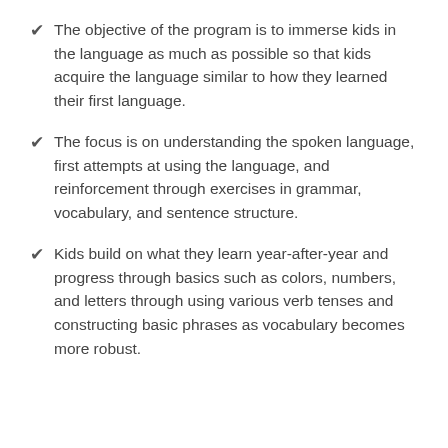The objective of the program is to immerse kids in the language as much as possible so that kids acquire the language similar to how they learned their first language.
The focus is on understanding the spoken language, first attempts at using the language, and reinforcement through exercises in grammar, vocabulary, and sentence structure.
Kids build on what they learn year-after-year and progress through basics such as colors, numbers, and letters through using various verb tenses and constructing basic phrases as vocabulary becomes more robust.